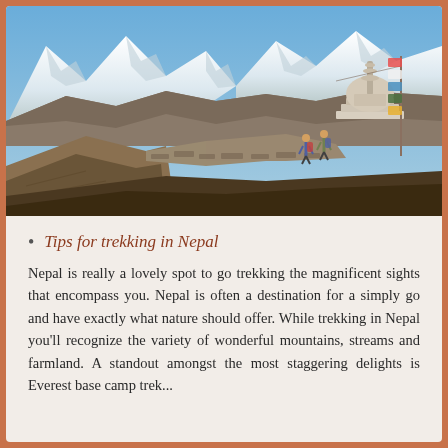[Figure (photo): Mountain trekking scene in Nepal showing a rocky trail with two hikers near a Buddhist stupa, with snow-capped Himalayan peaks in the background under a clear blue sky.]
Tips for trekking in Nepal
Nepal is really a lovely spot to go trekking the magnificent sights that encompass you. Nepal is often a destination for a simply go and have exactly what nature should offer. While trekking in Nepal you'll recognize the variety of wonderful mountains, streams and farmland. A standout amongst the most staggering delights is Everest base camp trek...